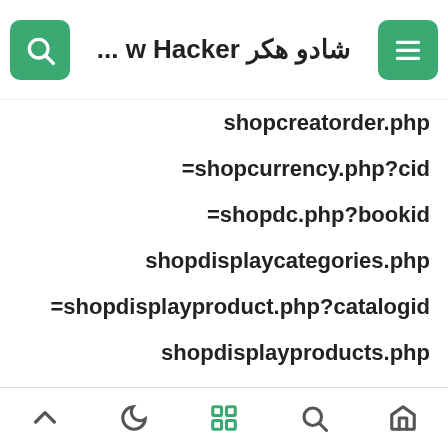شادو هكر w Hacker ...
shopcreatorder.php
=shopcurrency.php?cid
=shopdc.php?bookid
shopdisplaycategories.php
=shopdisplayproduct.php?catalogid
shopdisplayproducts.php
shopexd.php
=shopexd.php?catalogid
=shopping.php?id
=shopping_article.php?id
=shopping_basket.php?cartID
navigation toolbar